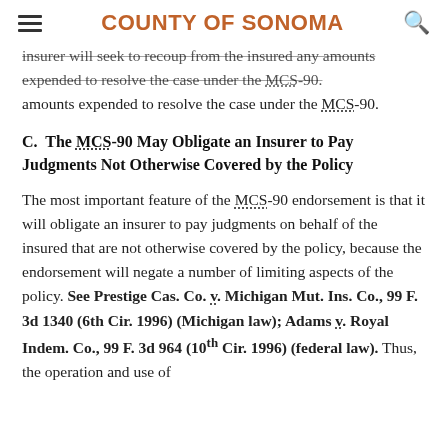COUNTY OF SONOMA
insurer will seek to recoup from the insured any amounts expended to resolve the case under the MCS-90.
C.  The MCS-90 May Obligate an Insurer to Pay Judgments Not Otherwise Covered by the Policy
The most important feature of the MCS-90 endorsement is that it will obligate an insurer to pay judgments on behalf of the insured that are not otherwise covered by the policy, because the endorsement will negate a number of limiting aspects of the policy. See Prestige Cas. Co. v. Michigan Mut. Ins. Co., 99 F. 3d 1340 (6th Cir. 1996) (Michigan law); Adams v. Royal Indem. Co., 99 F. 3d 964 (10th Cir. 1996) (federal law). Thus, the operation and use of